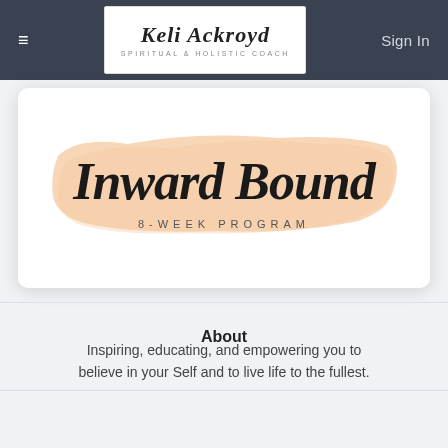≡   Keli Ackroyd – Spiritual & Holistic Coach   Sign In
[Figure (illustration): Inward Bound 8-Week Program banner with script calligraphy on peachy brush stroke background]
About
Inspiring, educating, and empowering you to believe in your Self and to live life to the fullest.
Modules for this product   4